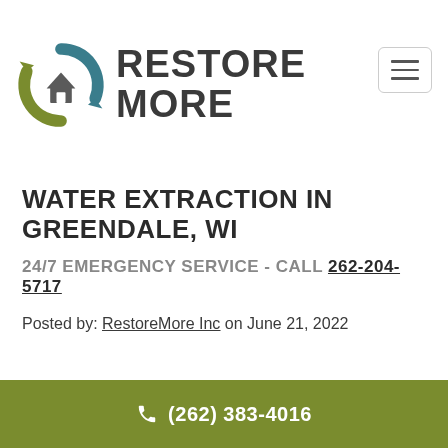[Figure (logo): RestoreMore logo: circular arrows icon with house silhouette in teal and olive green, beside bold uppercase text RESTORE MORE]
WATER EXTRACTION IN GREENDALE, WI
24/7 EMERGENCY SERVICE - CALL 262-204-5717
Posted by: RestoreMore Inc on June 21, 2022
(262) 383-4016